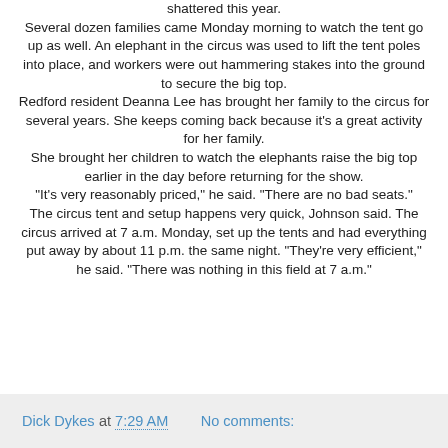shattered this year. Several dozen families came Monday morning to watch the tent go up as well. An elephant in the circus was used to lift the tent poles into place, and workers were out hammering stakes into the ground to secure the big top. Redford resident Deanna Lee has brought her family to the circus for several years. She keeps coming back because it's a great activity for her family. She brought her children to watch the elephants raise the big top earlier in the day before returning for the show. “It’s very reasonably priced,” he said. “There are no bad seats.” The circus tent and setup happens very quick, Johnson said. The circus arrived at 7 a.m. Monday, set up the tents and had everything put away by about 11 p.m. the same night. “They’re very efficient,” he said. “There was nothing in this field at 7 a.m.”
Dick Dykes at 7:29 AM   No comments: